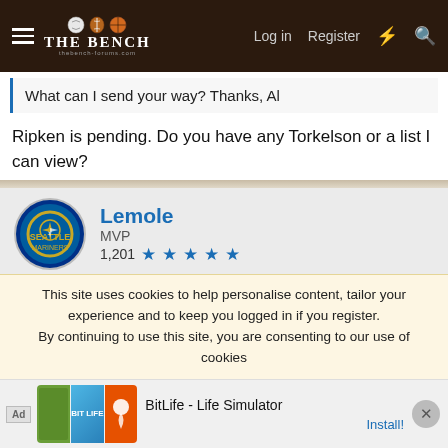THE BENCH - thebench.com | Log in | Register
What can I send your way? Thanks, Al
Ripken is pending. Do you have any Torkelson or a list I can view?
Lemole
MVP
1,201 ★★★★★
Apr 23, 2022  #73
Lemole said: ↑
Sounds good, am at work, when I get home I'll double check i have them. 99.9% sure, tks
This site uses cookies to help personalise content, tailor your experience and to keep you logged in if you register.
By continuing to use this site, you are consenting to our use of cookies.
[Figure (other): Advertisement banner for BitLife - Life Simulator mobile app with game screenshot thumbnails and Install button]